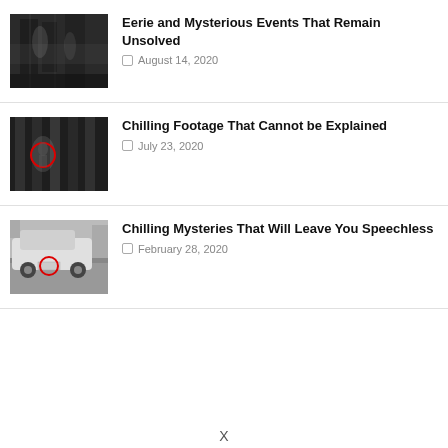[Figure (photo): Black and white grainy photo of a dark room or corridor with shadowy figures]
Eerie and Mysterious Events That Remain Unsolved
August 14, 2020
[Figure (photo): Black and white photo of dark vertical bars or columns with a red circle highlighting something in the scene]
Chilling Footage That Cannot be Explained
July 23, 2020
[Figure (photo): Black and white photo of a vintage car from behind with a red circle on the license plate area]
Chilling Mysteries That Will Leave You Speechless
February 28, 2020
X